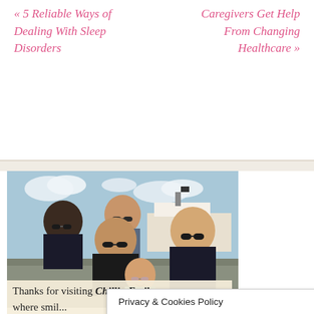« 5 Reliable Ways of Dealing With Sleep Disorders
Caregivers Get Help From Changing Healthcare »
[Figure (photo): Family group photo of five people wearing sunglasses, standing outdoors near a waterfront with a large boat visible in the background. A younger girl stands in front.]
Thanks for visiting Chillin Emily where smil...
Privacy & Cookies Policy